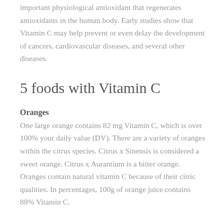important physiological antioxidant that regenerates antioxidants in the human body. Early studies show that Vitamin C may help prevent or even delay the development of cancers, cardiovascular diseases, and several other diseases.
5 foods with Vitamin C
Oranges
One large orange contains 82 mg Vitamin C, which is over 100% your daily value (DV). There are a variety of oranges within the citrus species. Citrus x Sinensis is considered a sweet orange. Citrus x Aurantium is a bitter orange. Oranges contain natural vitamin C because of their citric qualities. In percentages, 100g of orange juice contains 88% Vitamin C.